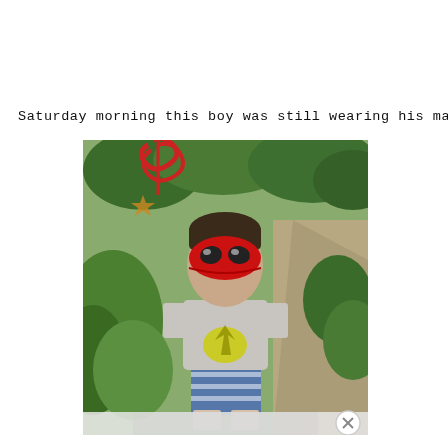Saturday morning this boy was still wearing his mask.
[Figure (photo): A young boy wearing a red Spiderman mask and a gray t-shirt with a yellow graphic, blue striped shorts, standing outside on a garden path surrounded by green plants and ferns. There is a red pinwheel or spiral decoration to his upper left.]